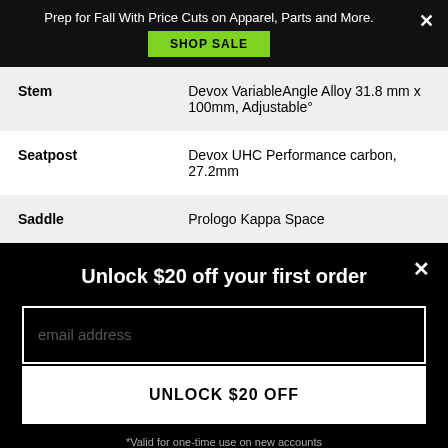Prep for Fall With Price Cuts on Apparel, Parts and More. SHOP SALE
| Component | Specification |
| --- | --- |
| Stem | Devox VariableAngle Alloy 31.8 mm x 100mm, Adjustable° |
| Seatpost | Devox UHC Performance carbon, 27.2mm |
| Saddle | Prologo Kappa Space |
Unlock $20 off your first order
email address
UNLOCK $20 OFF
*Valid for one-time use on new accounts